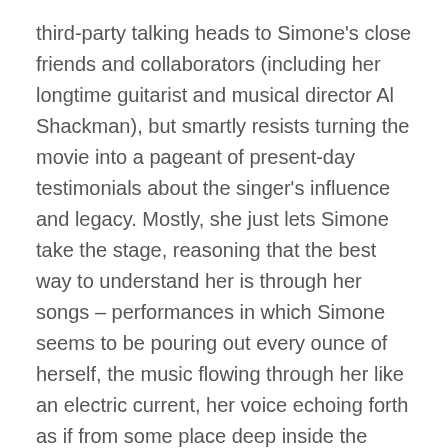third-party talking heads to Simone's close friends and collaborators (including her longtime guitarist and musical director Al Shackman), but smartly resists turning the movie into a pageant of present-day testimonials about the singer's influence and legacy. Mostly, she just lets Simone take the stage, reasoning that the best way to understand her is through her songs – performances in which Simone seems to be pouring out every ounce of herself, the music flowing through her like an electric current, her voice echoing forth as if from some place deep inside the earth". Watch the trailer here.
O, DEATH
Jonny Trunk, Trunk Records: “And let’s all hope today is better than yesterday, with three extraordinary deaths all in row – of people who have certainly shaped my life in one